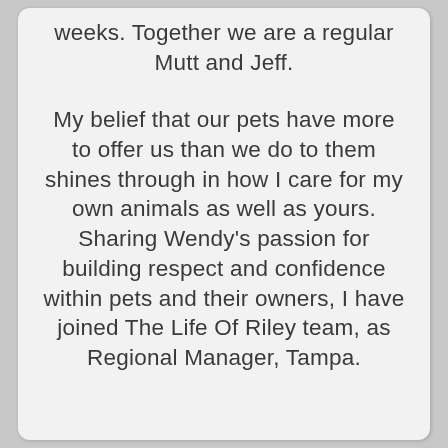weeks. Together we are a regular Mutt and Jeff.
My belief that our pets have more to offer us than we do to them shines through in how I care for my own animals as well as yours. Sharing Wendy's passion for building respect and confidence within pets and their owners, I have joined The Life Of Riley team, as Regional Manager, Tampa.